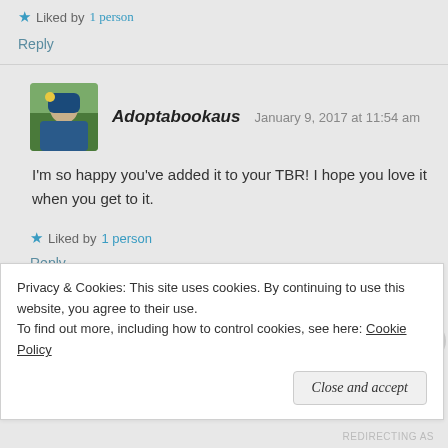★ Liked by 1 person
Reply
Adoptabookaus  January 9, 2017 at 11:54 am
I'm so happy you've added it to your TBR! I hope you love it when you get to it.
★ Liked by 1 person
Reply
Privacy & Cookies: This site uses cookies. By continuing to use this website, you agree to their use.
To find out more, including how to control cookies, see here: Cookie Policy
Close and accept